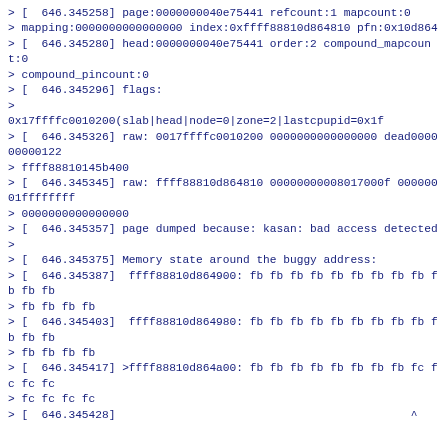> [  646.345258] page:0000000040e75441 refcount:1 mapcount:0
> mapping:0000000000000000 index:0xffff88810d864810 pfn:0x10d864
> [  646.345280] head:0000000040e75441 order:2 compound_mapcount:0
> compound_pincount:0
> [  646.345296] flags:
>
0x17ffffc0010200(slab|head|node=0|zone=2|lastcpupid=0x1f
> [  646.345326] raw: 0017ffffc0010200 0000000000000000 dead000000000122
> ffff88810145b400
> [  646.345345] raw: ffff88810d864810 0000000008017000f 00000001ffffffff
> 0000000000000000
> [  646.345357] page dumped because: kasan: bad access detected
>
> [  646.345375] Memory state around the buggy address:
> [  646.345387]  ffff88810d864900: fb fb fb fb fb fb fb fb fb fb fb fb
> fb fb fb fb
> [  646.345403]  ffff88810d864980: fb fb fb fb fb fb fb fb fb fb fb fb
> fb fb fb fb
> [  646.345417] >ffff88810d864a00: fb fb fb fb fb fb fb fb fc fc fc fc
> fc fc fc fc
> [  646.345428]                                             ^